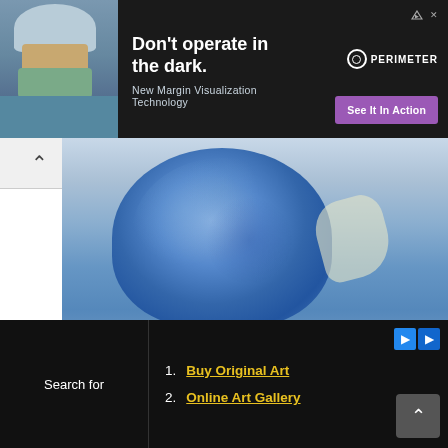[Figure (photo): Advertisement banner with surgeon photo on left; headline 'Don't operate in the dark.' and subline 'New Margin Visualization Technology'; purple CTA button 'See It In Action'; Perimeter logo top right]
[Figure (photo): Close-up photo of a blue parrot/bird with ruffled feathers, partially visible, on a light grey background]
Lorena Kloosterboer Contemporary Realist Artist & Author
[Figure (photo): Orange textured surface/painting detail, warm golden-orange color with subtle light spots]
Search for
Buy Original Art
Online Art Gallery